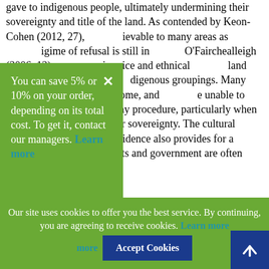gave to indigenous people, ultimately undermining their sovereignty and title of the land. As contended by Keon-Cohen (2012, 27), ievable to many areas as igime of refusal is still in O'Fairchealleigh (2006, 12) omic price and ethnical land name acts as a main digenous groupings. Many e living in low income, and e unable to spend the money for lengthy procedure, particularly when many fail to achieve title or sovereignty. The cultural differences in providing evidence also provides for a barrier, white-colored courts and government are often unaccepting of oral
You can save 5% or 10% on your order, depending on its total cost. To get it, contact our managers. Learn more
Our site uses cookies to offer you the best service. By continuing, you are agreeing to receive cookies. Learn more